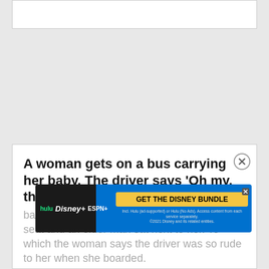[Figure (other): White rectangular box at top of page (partial UI element)]
A woman gets on a bus carrying her baby. The driver says 'Oh my, that's the ugliest
baby I've ever seen' The woman goes to her seat and an older man sat next to her. To which the woman says the driver was so rude to her when she boarded.
[Figure (infographic): Disney Bundle advertisement banner showing Hulu, Disney+, ESPN+ logos with 'GET THE DISNEY BUNDLE' button and fine print about access from each service separately. ©2021 Disney and its related entities.]